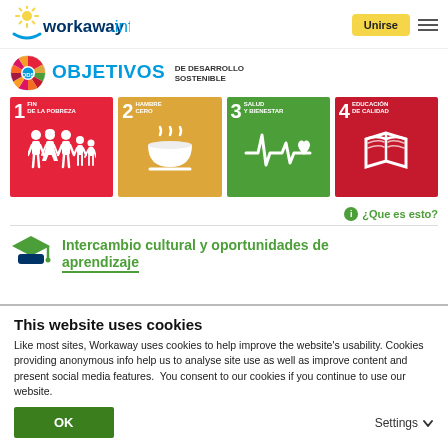workaway.info | Unirse
[Figure (infographic): OBJETIVOS DE DESARROLLO SOSTENIBLE banner with SDG wheel icon]
[Figure (infographic): Four SDG goal cards: 1 FIN DE LA POBREZA (red), 2 HAMBRE CERO (gold), 3 SALUD Y BIENESTAR (green), 4 EDUCACIÓN DE CALIDAD (dark red)]
¿Que es esto?
Intercambio cultural y oportunidades de aprendizaje
This website uses cookies
Like most sites, Workaway uses cookies to help improve the website's usability. Cookies providing anonymous info help us to analyse site use as well as improve content and present social media features.  You consent to our cookies if you continue to use our website.
OK
Settings